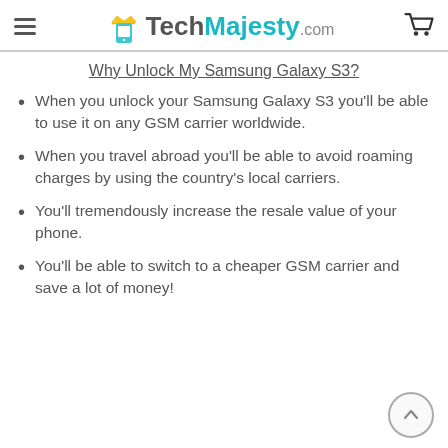TechMajesty.com
Why Unlock My Samsung Galaxy S3?
When you unlock your Samsung Galaxy S3 you'll be able to use it on any GSM carrier worldwide.
When you travel abroad you'll be able to avoid roaming charges by using the country's local carriers.
You'll tremendously increase the resale value of your phone.
You'll be able to switch to a cheaper GSM carrier and save a lot of money!